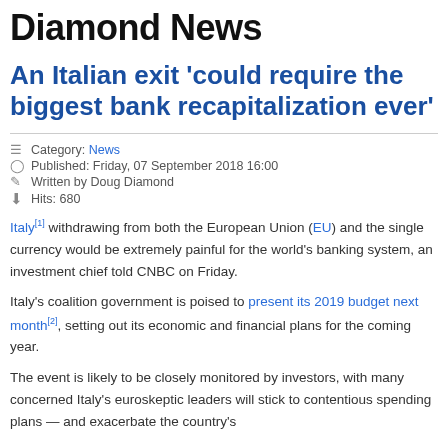Diamond News
An Italian exit 'could require the biggest bank recapitalization ever'
Category: News
Published: Friday, 07 September 2018 16:00
Written by Doug Diamond
Hits: 680
Italy[1] withdrawing from both the European Union (EU) and the single currency would be extremely painful for the world's banking system, an investment chief told CNBC on Friday.
Italy's coalition government is poised to present its 2019 budget next month[2], setting out its economic and financial plans for the coming year.
The event is likely to be closely monitored by investors, with many concerned Italy's euroskeptic leaders will stick to contentious spending plans — and exacerbate the country's